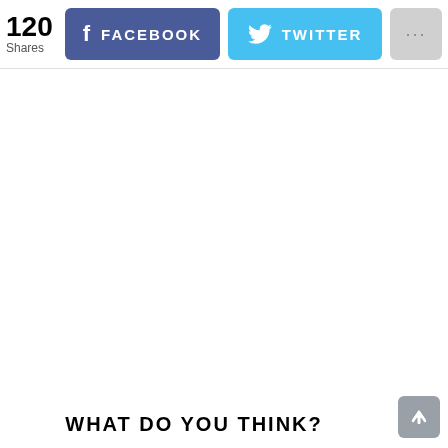120 Shares
[Figure (screenshot): Facebook share button with 'f' logo and text FACEBOOK on blue-purple background]
[Figure (screenshot): Twitter share button with bird logo and text TWITTER on light blue background]
[Figure (screenshot): More options button with three dots on light grey background]
WHAT DO YOU THINK?
[Figure (screenshot): Scroll to top button with upward arrow on grey background, bottom right corner]